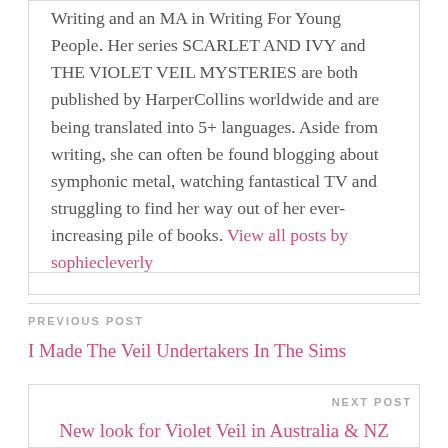Writing and an MA in Writing For Young People. Her series SCARLET AND IVY and THE VIOLET VEIL MYSTERIES are both published by HarperCollins worldwide and are being translated into 5+ languages. Aside from writing, she can often be found blogging about symphonic metal, watching fantastical TV and struggling to find her way out of her ever-increasing pile of books. View all posts by sophiecleverly
PREVIOUS POST
I Made The Veil Undertakers In The Sims
NEXT POST
New look for Violet Veil in Australia & NZ